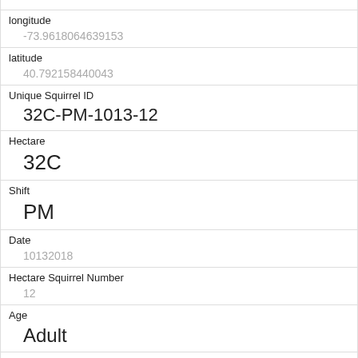| longitude | -73.9618064639153 |
| latitude | 40.792158440043 |
| Unique Squirrel ID | 32C-PM-1013-12 |
| Hectare | 32C |
| Shift | PM |
| Date | 10132018 |
| Hectare Squirrel Number | 12 |
| Age | Adult |
| Primary Fur Color | Gray |
| Highlight Fur Color |  |